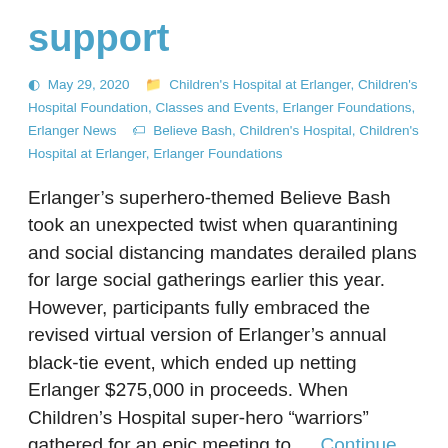support
May 29, 2020   Children's Hospital at Erlanger, Children's Hospital Foundation, Classes and Events, Erlanger Foundations, Erlanger News   Believe Bash, Children's Hospital, Children's Hospital at Erlanger, Erlanger Foundations
Erlanger’s superhero-themed Believe Bash took an unexpected twist when quarantining and social distancing mandates derailed plans for large social gatherings earlier this year. However, participants fully embraced the revised virtual version of Erlanger’s annual black-tie event, which ended up netting Erlanger $275,000 in proceeds. When Children’s Hospital super-hero “warriors” gathered for an epic meeting to … Continue